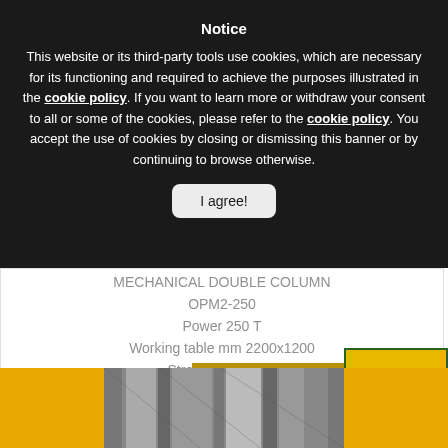Notice
This website or its third-party tools use cookies, which are necessary for its functioning and required to achieve the purposes illustrated in the cookie policy. If you want to learn more or withdraw your consent to all or some of the cookies, please refer to the cookie policy. You accept the use of cookies by closing or dismissing this banner or by continuing to browse otherwise.
I agree!
MECHANICAL DOUBLE COLUMN OPM2-250
Power 250 T
Working table mm 2200x1200
Strokes/min n. 24
Max...
CLICK TO SEE DETAILS
[Figure (screenshot): TOP navigation button with upward arrow, yellow/green style]
[Figure (photo): Bottom strip showing a metallic mechanical press machine photo with yellow/gold border]